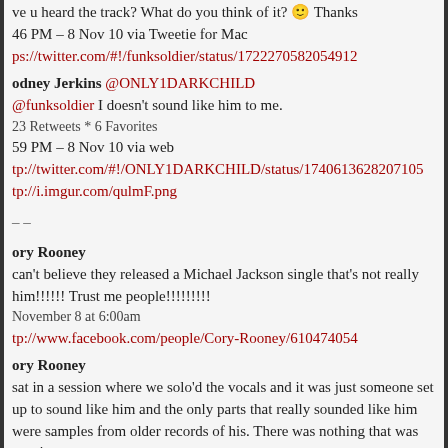ve u heard the track? What do you think of it? 🙂 Thanks
46 PM – 8 Nov 10 via Tweetie for Mac
https://twitter.com/#!/funksoldier/status/1722270582054912
Rodney Jerkins @ONLY1DARKCHILD
@funksoldier I doesn't sound like him to me.
23 Retweets * 6 Favorites
59 PM – 8 Nov 10 via web
http://twitter.com/#!/ONLY1DARKCHILD/status/1740613628207105
http://i.imgur.com/qulmF.png
– –
Cory Rooney
can't believe they released a Michael Jackson single that's not really him!!!!!! Trust me people!!!!!!!!!
November 8 at 6:00am
http://www.facebook.com/people/Cory-Rooney/610474054
Cory Rooney
sat in a session where we solo'd the vocals and it was just someone set up to sound like him and the only parts that really sounded like him were samples from older records of his. There was nothing that was consistent